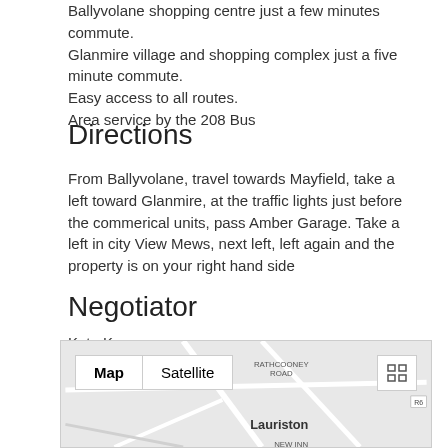Ballyvolane shopping centre just a few minutes commute. Glanmire village and shopping complex just a five minute commute.
Easy access to all routes.
Area service by the 208 Bus
Directions
From Ballyvolane, travel towards Mayfield, take a left toward Glanmire, at the traffic lights just before the commerical units, pass Amber Garage. Take a left in city View Mews, next left, left again and the property is on your right hand side
Negotiator
Kate Kearney
[Figure (map): Google Maps view showing area around Lauriston, with Rathcooney Road, New Inn, and road R6 visible. Map/Satellite toggle buttons shown at top left.]